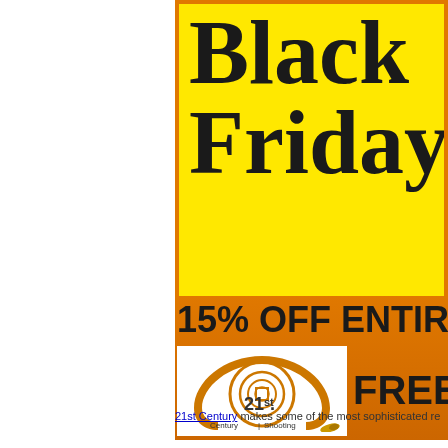[Figure (illustration): Black Friday advertisement banner with yellow background showing 'Black Friday /' in large bold black serif font, orange section below with '15% OFF ENTIR' text, 21st Century Shooting logo (circular target/C design), and 'FREE S' text]
21st Century makes some of the most sophisticated re